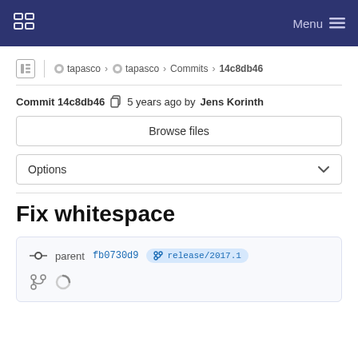Menu (navigation bar with logo)
tapasco › tapasco › Commits › 14c8db46
Commit 14c8db46  5 years ago by Jens Korinth
Browse files
Options
Fix whitespace
parent fb0730d9  release/2017.1